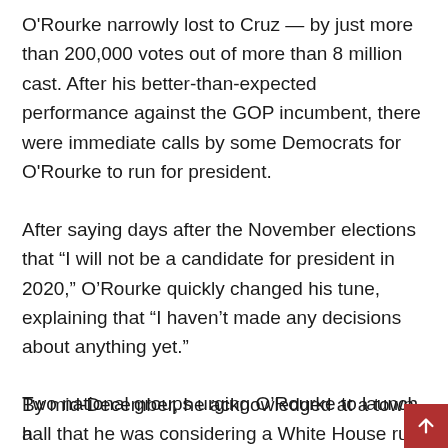O'Rourke narrowly lost to Cruz — by just more than 200,000 votes out of more than 8 million cast. After his better-than-expected performance against the GOP incumbent, there were immediate calls by some Democrats for O'Rourke to run for president.
After saying days after the November elections that “I will not be a candidate for president in 2020,” O'Rourke quickly changed his tune, explaining that “I haven’t made any decisions about anything yet.”
By mid-December, he acknowledged at a town hall that he was considering a White House run.
Two national groups urging O'Rourke to launch a